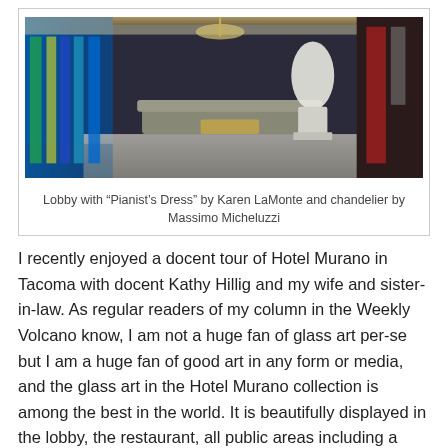[Figure (photo): Hotel lobby interior with a white sculptural dress artwork ('Pianist's Dress' by Karen LaMonte) and a chandelier by Massimo Micheluzzi, with blue-lit walls in the background.]
Lobby with “Pianist’s Dress” by Karen LaMonte and chandelier by Massimo Micheluzzi
I recently enjoyed a docent tour of Hotel Murano in Tacoma with docent Kathy Hillig and my wife and sister-in-law. As regular readers of my column in the Weekly Volcano know, I am not a huge fan of glass art per-se but I am a huge fan of good art in any form or media, and the glass art in the Hotel Murano collection is among the best in the world. It is beautifully displayed in the lobby, the restaurant, all public areas including a featured artist on every floor, and even in the public restrooms. The Murano is a welcoming place. Its art collection is not there just for the enjoyment of hotel guests but is displayed for anyone who wants to see it. Feel free to wander into the lobby at your leisure, take the elevator up to the 25th floor and work your way down to see